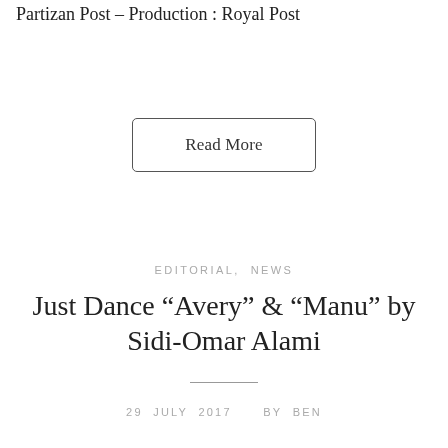Partizan Post – Production : Royal Post
Read More
EDITORIAL, NEWS
Just Dance “Avery” & “Manu” by Sidi-Omar Alami
29 JULY 2017   BY BEN